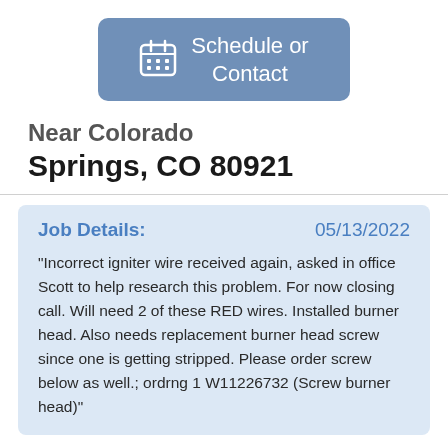[Figure (other): Blue-grey rounded button with calendar icon and text 'Schedule or Contact']
Near Colorado Springs, CO 80921
Job Details:
05/13/2022
"Incorrect igniter wire received again, asked in office Scott to help research this problem. For now closing call. Will need 2 of these RED wires. Installed burner head. Also needs replacement burner head screw since one is getting stripped. Please order screw below as well.; ordrng 1 W11226732 (Screw burner head)"